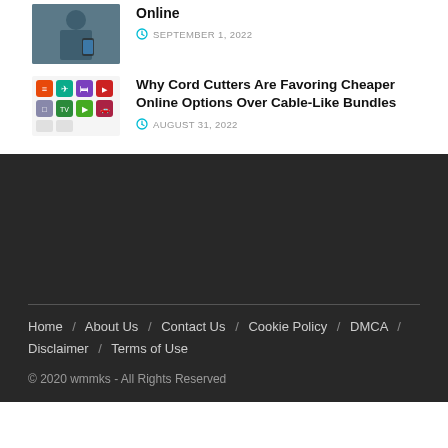[Figure (photo): Thumbnail photo of a man holding a smartphone, business setting]
Online
SEPTEMBER 1, 2022
[Figure (illustration): Grid of colorful app/channel icons including travel, entertainment, and streaming apps]
Why Cord Cutters Are Favoring Cheaper Online Options Over Cable-Like Bundles
AUGUST 31, 2022
Home / About Us / Contact Us / Cookie Policy / DMCA / Disclaimer / Terms of Use
© 2020 wmmks - All Rights Reserved